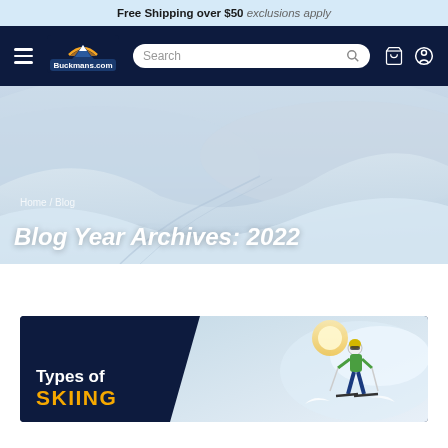Free Shipping over $50 exclusions apply
[Figure (screenshot): Buckmans.com navigation bar with hamburger menu, logo, search box, cart and account icons on dark navy background]
[Figure (photo): Snowy ski slope hero image with breadcrumb 'Home / Blog' and title 'Blog Year Archives: 2022' overlaid in white italic text]
[Figure (photo): Blog card with dark navy background showing 'Types of SKIING' text and skier photo on right side]